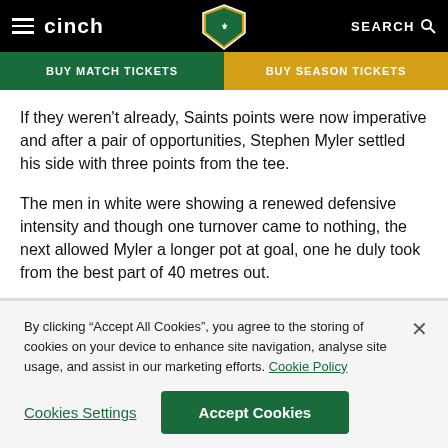cinch | SEARCH
BUY MATCH TICKETS | BUY SEASON TICKETS
If they weren't already, Saints points were now imperative and after a pair of opportunities, Stephen Myler settled his side with three points from the tee.
The men in white were showing a renewed defensive intensity and though one turnover came to nothing, the next allowed Myler a longer pot at goal, one he duly took from the best part of 40 metres out.
By clicking “Accept All Cookies”, you agree to the storing of cookies on your device to enhance site navigation, analyse site usage, and assist in our marketing efforts. Cookie Policy